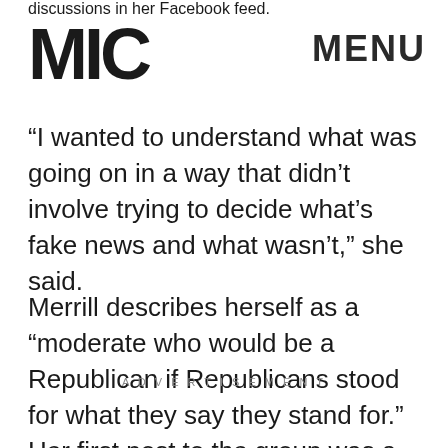discussions in her Facebook feed.
[Figure (logo): MIC logo in bold black letters]
MENU
“I wanted to understand what was going on in a way that didn’t involve trying to decide what’s fake news and what wasn’t,” she said.
Merrill describes herself as a “moderate who would be a Republican if Republicans stood for what they say they stand for.” Her first post to the group was a Washington Post analysis of Trump voters. She asked women who voted for Trump to help her understand.
ADVERTISEMENT